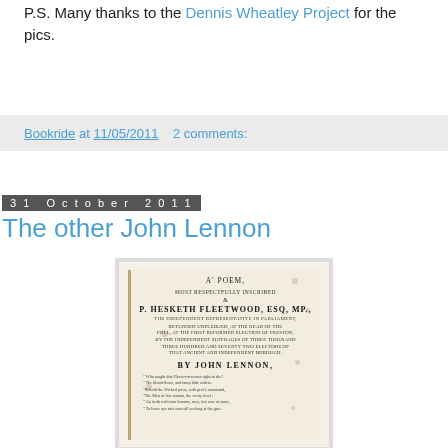P.S. Many thanks to the Dennis Wheatley Project for the pics.
Bookride at 11/05/2011   2 comments:
31 October 2011
The other John Lennon
[Figure (photo): Photograph of an old book title page showing: A POEM, MOST RESPECTFULLY INSCRIBED, &, P. HESKETH FLEETWOOD, ESQ, MP., and inscription about being returned unpledged at the head of the poll..., BY JOHN LENNON, followed by verses]